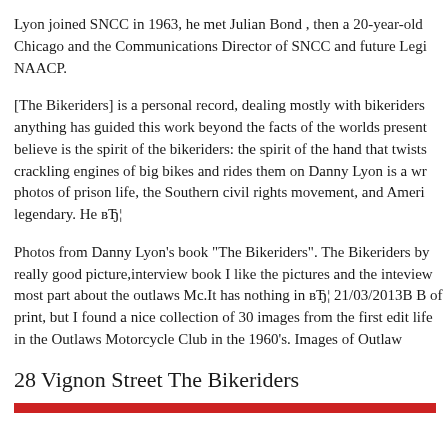Lyon joined SNCC in 1963, he met Julian Bond , then a 20-year-old Chicago and the Communications Director of SNCC and future Legi NAACP.
[The Bikeriders] is a personal record, dealing mostly with bikeriders anything has guided this work beyond the facts of the worlds present believe is the spirit of the bikeriders: the spirit of the hand that twists crackling engines of big bikes and rides them on Danny Lyon is a wr photos of prison life, the Southern civil rights movement, and Ameri legendary. He вЂ¦
Photos from Danny Lyon's book "The Bikeriders". The Bikeriders by really good picture,interview book I like the pictures and the inteview most part about the outlaws Mc.It has nothing in вЂ¦ 21/03/2013В В of print, but I found a nice collection of 30 images from the first edit life in the Outlaws Motorcycle Club in the 1960's. Images of Outlaw
28 Vignon Street The Bikeriders
[Figure (other): Red horizontal bar at the bottom of the page]